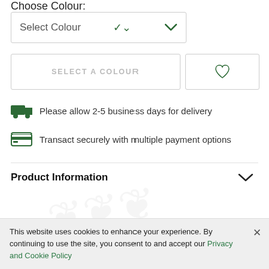Choose Colour:
Select Colour
SELECT A COLOUR
Please allow 2-5 business days for delivery
Transact securely with multiple payment options
Product Information
RECOMMENDED FOR YOU
This website uses cookies to enhance your experience. By continuing to use the site, you consent to and accept our Privacy and Cookie Policy